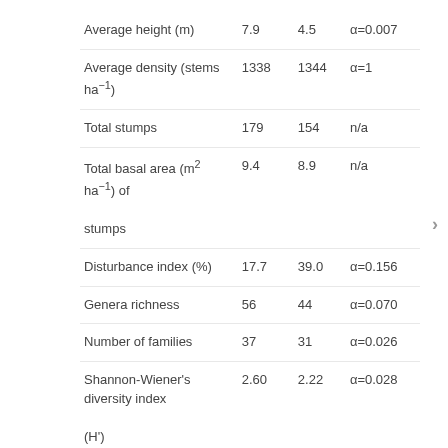| Average height (m) | 7.9 | 4.5 | α=0.007 |
| Average density (stems ha⁻¹) | 1338 | 1344 | α=1 |
| Total stumps | 179 | 154 | n/a |
| Total basal area (m² ha⁻¹) of stumps | 9.4 | 8.9 | n/a |
| Disturbance index (%) | 17.7 | 39.0 | α=0.156 |
| Genera richness | 56 | 44 | α=0.070 |
| Number of families | 37 | 31 | α=0.026 |
| Shannon-Wiener's diversity index (H') | 2.60 | 2.22 | α=0.028 |
| Simpson's dominance index (λ) | 0.07 | 0.13 | α=0.005 |